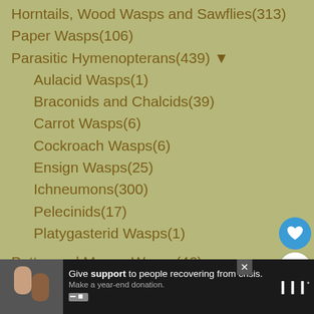Horntails, Wood Wasps and Sawflies(313)
Paper Wasps(106)
Parasitic Hymenopterans(439) ▼
Aulacid Wasps(1)
Braconids and Chalcids(39)
Carrot Wasps(6)
Cockroach Wasps(6)
Ensign Wasps(25)
Ichneumons(300)
Pelecinids(17)
Platygasterid Wasps(1)
Potter and Mason Wasps(46)
Scoliid Wasps(83)
spider wasps(129) ▼
Tarantula Hawks(48)
Thread Waisted Wasps(151)
Thynnid Wasps(5)
Tiphiid Wasps(16)
[Figure (other): What's Next panel showing American Pelecinid with insect photo]
[Figure (other): Advertisement banner: Give support to people recovering from crisis. Make a year-end donation.]